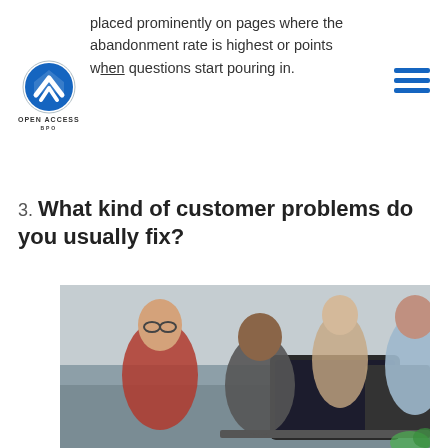placed prominently on pages where the abandonment rate is highest or points when questions start pouring in.
[Figure (logo): Open Access BPO logo — shield with chevron icon above text OPEN ACCESS BPO]
3. What kind of customer problems do you usually fix?
[Figure (photo): Four people gathered around a computer monitor in an office setting — two men leaning forward looking at screen, two women standing behind them]